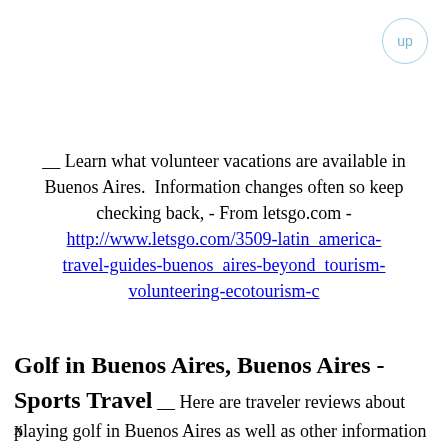__ Learn what volunteer vacations are available in Buenos Aires.  Information changes often so keep checking back, - From letsgo.com - http://www.letsgo.com/3509-latin_america-travel-guides-buenos_aires-beyond_tourism-volunteering-ecotourism-c
Golf in Buenos Aires, Buenos Aires - Sports Travel __ Here are traveler reviews about playing golf in Buenos Aires as well as other information about the city. - From virtualtourist.com - http://www.virtualtourist.com/travel/South_America/Argentina/Distrito_Federal/Buenos_Aires-1541981/Sports_Travel-Buenos_Aires-Golf_in_Buenos_Aires-BR-1.html
x